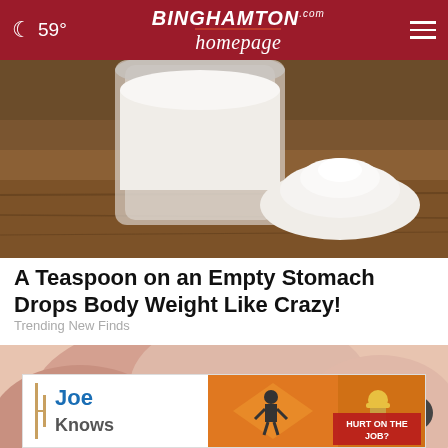59° BINGHAMTON homepage .com
[Figure (photo): A glass jar filled with white powder and a pile of white powder on a wooden surface]
A Teaspoon on an Empty Stomach Drops Body Weight Like Crazy!
Trending New Finds
[Figure (photo): Close-up of hands touching skin]
[Figure (infographic): Joe Knows advertisement banner - HURT ON THE JOB? with construction worker imagery]